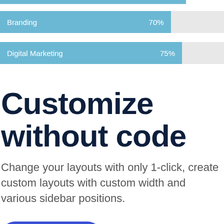[Figure (bar-chart): Skills progress bars]
Customize without code
Change your layouts with only 1-click, create custom layouts with custom width and various sidebar positions.
READ MORE